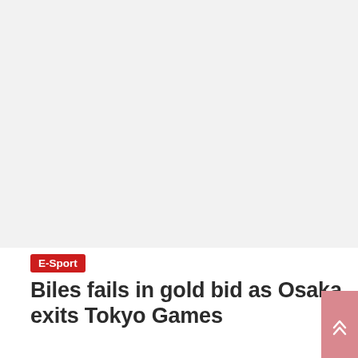[Figure (photo): Light gray placeholder image area at top of article page]
E-Sport
Biles fails in gold bid as Osaka exits Tokyo Games
July 31, 2021
TOKYO, July 27 (Reuters) – Simone Biles' bid to launch a history-making goldrush at the Tokyo